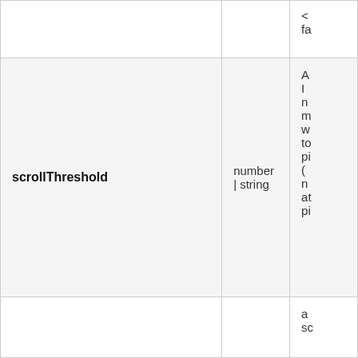|  |  | <fa |
| scrollThreshold | number | string | A I n m w to pi ( n at pi |
|  |  | a sc |